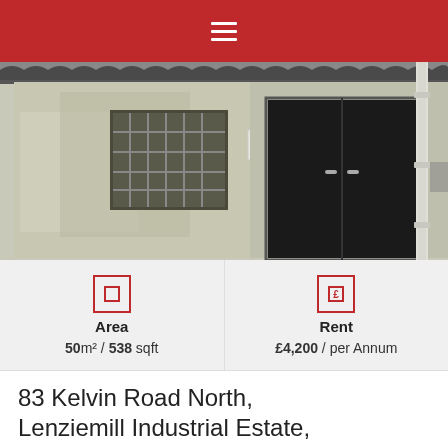Navigation menu
[Figure (photo): Exterior photo of an industrial unit showing a concrete façade with a barred window on the left and a black double door on the right, with a white drainpipe visible.]
Area  50m² / 538 sqft
Rent  £4,200 / per Annum
83 Kelvin Road North, Lenziemill Industrial Estate, Cumbernauld **UNDER